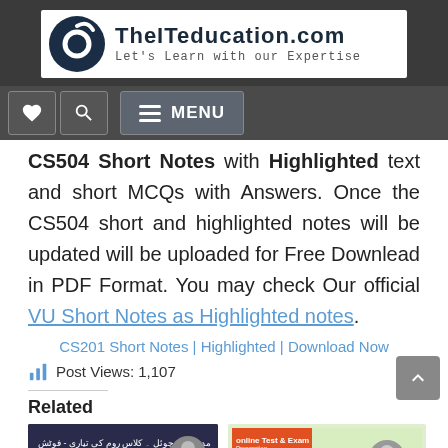[Figure (logo): TheITeducation.com logo with dark blue circular icon and text 'Let's Learn with our Expertise']
Navigation bar with heart icon, search icon, and MENU button
CS504 Short Notes with Highlighted text and short MCQs with Answers. Once the CS504 short and highlighted notes will be updated will be uploaded for Free Downlead in PDF Format. You may check Our official VU Short Notes as Highlighted notes.
CS201 Short Notes | Highlighted | Download Now
Post Views: 1,107
Related